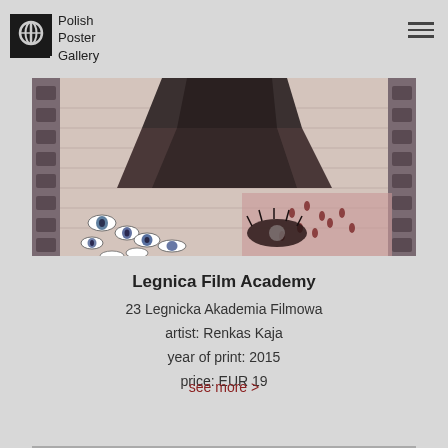Polish Poster Gallery
[Figure (photo): Close-up photo of a Polish art poster artwork for Legnica Film Academy, showing eyes and a dark sculptural element with warm pink/brown tones]
Legnica Film Academy
23 Legnicka Akademia Filmowa
artist: Renkas Kaja
year of print: 2015
price: EUR 19
see more >